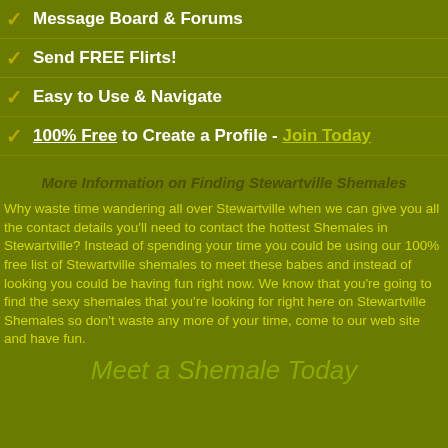Message Board & Forums
Send FREE Flirts!
Easy to Use & Navigate
100% Free to Create a Profile - Join Today
More Information on Finding Stewartville Shemales
Why waste time wandering all over Stewartville when we can give you all the contact details you'll need to contact the hottest Shemales in Stewartville? Instead of spending your time you could be using our 100% free list of Stewartville shemales to meet these babes and instead of looking you could be having fun right now. We know that you're going to find the sexy shemales that you're looking for right here on Stewartville Shemales so don't waste any more of your time, come to our web site and have fun.
Meet a Shemale Today